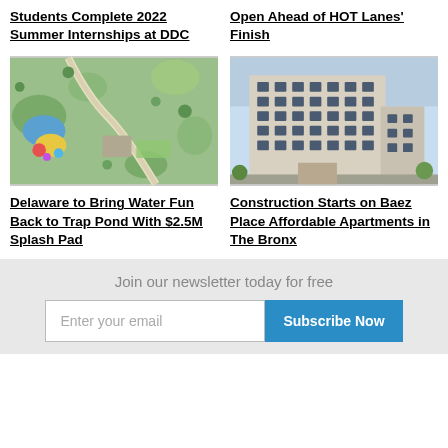Students Complete 2022 Summer Internships at DDC
Open Ahead of HOT Lanes' Finish
[Figure (map): Aerial site plan map showing Trap Pond park area with water features, splash pad layout, trees, and pathways in green and blue tones]
[Figure (photo): Exterior rendering of Baez Place, a multi-story affordable apartment building in The Bronx, showing a modern grey facade with uniform windows]
Delaware to Bring Water Fun Back to Trap Pond With $2.5M Splash Pad
Construction Starts on Baez Place Affordable Apartments in The Bronx
Join our newsletter today for free
Enter your email
Subscribe Now